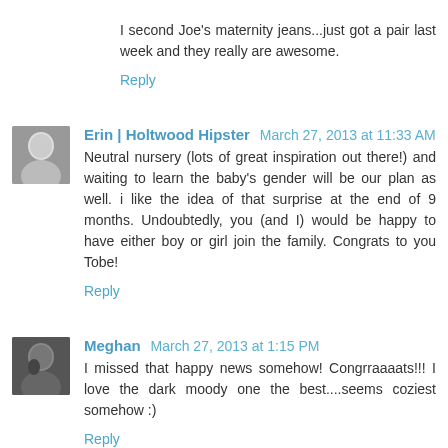I second Joe's maternity jeans...just got a pair last week and they really are awesome.
Reply
Erin | Holtwood Hipster  March 27, 2013 at 11:33 AM
Neutral nursery (lots of great inspiration out there!) and waiting to learn the baby's gender will be our plan as well. i like the idea of that surprise at the end of 9 months. Undoubtedly, you (and I) would be happy to have either boy or girl join the family. Congrats to you Tobe!
Reply
Meghan  March 27, 2013 at 1:15 PM
I missed that happy news somehow! Congrraaaats!!! I love the dark moody one the best....seems coziest somehow :)
Reply